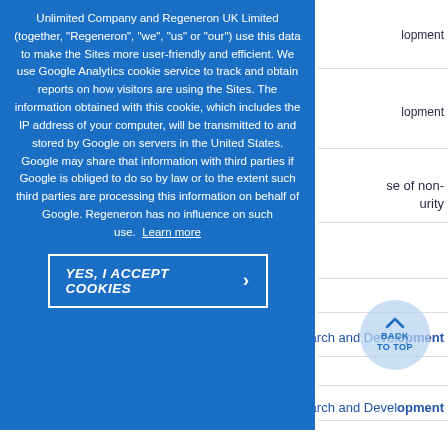Unlimited Company and Regeneron UK Limited (together, "Regeneron", "we", "us" or "our") use this data to make the Sites more user-friendly and efficient. We use Google Analytics cookie service to track and obtain reports on how visitors are using the Sites. The information obtained with this cookie, which includes the IP address of your computer, will be transmitted to and stored by Google on servers in the United States. Google may share that information with third parties if Google is obliged to do so by law or to the extent such third parties are processing this information on behalf of Google. Regeneron has no influence on such use.
Learn more
YES, I ACCEPT COOKIES
EVP Research and Development
EVP Research and Development